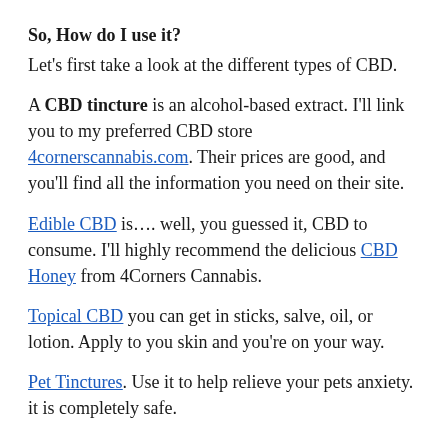So, How do I use it?
Let's first take a look at the different types of CBD.
A CBD tincture is an alcohol-based extract. I'll link you to my preferred CBD store 4cornerscannabis.com. Their prices are good, and you'll find all the information you need on their site.
Edible CBD is…. well, you guessed it, CBD to consume. I'll highly recommend the delicious CBD Honey from 4Corners Cannabis.
Topical CBD you can get in sticks, salve, oil, or lotion. Apply to you skin and you're on your way.
Pet Tinctures. Use it to help relieve your pets anxiety. it is completely safe.